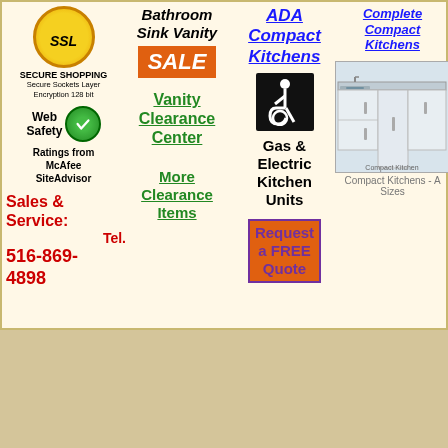[Figure (logo): SSL Secure Shopping badge with gold seal and green Web Safety checkmark]
Bathroom Sink Vanity SALE
Vanity Clearance Center
More Clearance Items
ADA Compact Kitchens
[Figure (logo): Wheelchair/disability icon in black square]
Gas & Electric Kitchen Units
Request a FREE Quote
Complete Compact Kitchens
[Figure (photo): Compact kitchen unit with sink and cabinets]
Compact Kitchens - A Sizes
Sales & Service: Tel. 516-869-4898
[Figure (logo): Wheelchair/disability icon in black square]
Click here for Americans with Disabilities Act (ADA)
[Figure (logo): FREE SHIPPING starburst badge]